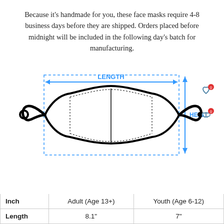Because it's handmade for you, these face masks require 4-8 business days before they are shipped. Orders placed before midnight will be included in the following day's batch for manufacturing.
[Figure (schematic): Technical diagram of a face mask showing LENGTH dimension (horizontal double-headed blue arrow) and HEIGHT dimension (vertical double-headed blue arrow). The mask outline is shown with dashed blue border rectangle and black mask silhouette with ear loops on both sides.]
| Inch | Adult (Age 13+) | Youth (Age 6-12) |
| --- | --- | --- |
| Length | 8.1" | 7" |